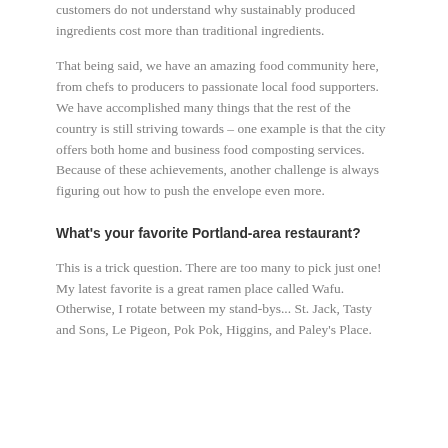customers do not understand why sustainably produced ingredients cost more than traditional ingredients.
That being said, we have an amazing food community here, from chefs to producers to passionate local food supporters. We have accomplished many things that the rest of the country is still striving towards – one example is that the city offers both home and business food composting services. Because of these achievements, another challenge is always figuring out how to push the envelope even more.
What's your favorite Portland-area restaurant?
This is a trick question. There are too many to pick just one! My latest favorite is a great ramen place called Wafu. Otherwise, I rotate between my stand-bys... St. Jack, Tasty and Sons, Le Pigeon, Pok Pok, Higgins, and Paley's Place.